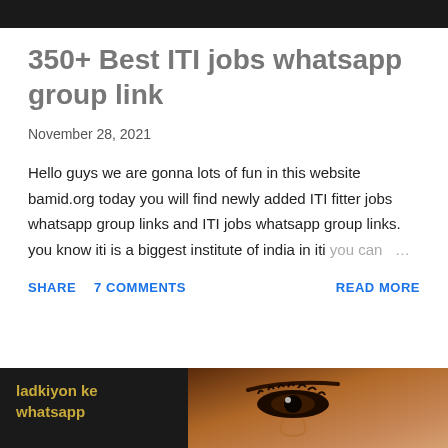[Figure (photo): Dark top banner strip]
350+ Best ITI jobs whatsapp group link
November 28, 2021
Hello guys we are gonna lots of fun in this website bamid.org today you will find newly added ITI fitter jobs whatsapp group links and ITI jobs whatsapp group links. you know iti is a biggest institute of india in iti you can ...
SHARE   7 COMMENTS   READ MORE
[Figure (photo): Bottom image showing a close-up of a woman's face with text 'ladkiyon ke whatsapp' in golden color on dark background]